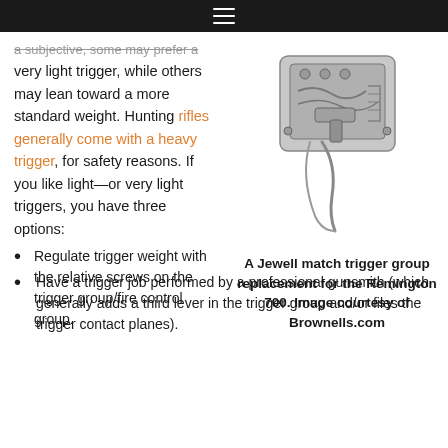≡
a subjective, some may prefer a very light trigger, while others may lean toward a more standard weight. Hunting rifles generally come with a heavy trigger, for safety reasons. If you like light—or very light triggers, you have three options:
[Figure (photo): A Jewell match trigger group replacement part for the Remington 700, showing a metallic trigger mechanism with springs and components.]
A Jewell match trigger group replacement for the Remington 700. Image courtesy of Brownells.com
Regulate trigger weight with the relative screws on the trigger group/fire control group.
Have a trigger job performed by a professional gunsmith (which generally adds a third lever in the trigger group and/or files the trigger contact planes).